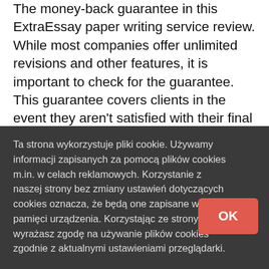The money-back guarantee in this ExtraEssay paper writing service review. While most companies offer unlimited revisions and other features, it is important to check for the guarantee. This guarantee covers clients in the event they aren't satisfied with their final product. If you're looking for a revision, you can request it within the specified time.
Ta strona wykorzystuje pliki cookie. Używamy informacji zapisanych za pomocą plików cookies m.in. w celach reklamowych. Korzystanie z naszej strony bez zmiany ustawień dotyczących cookies oznacza, że będą one zapisane w pamięci urządzenia. Korzystając ze strony wyrażasz zgodę na używanie plików cookies zgodnie z aktualnymi ustawieniami przeglądarki.